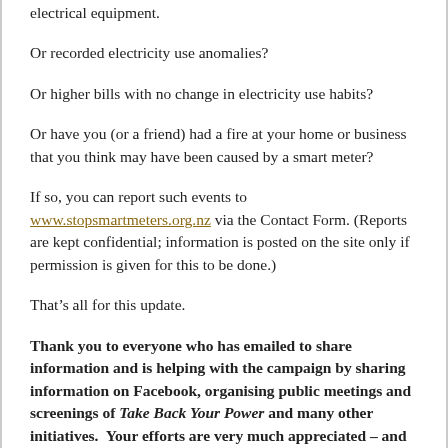electrical equipment.
Or recorded electricity use anomalies?
Or higher bills with no change in electricity use habits?
Or have you (or a friend) had a fire at your home or business that you think may have been caused by a smart meter?
If so, you can report such events to www.stopsmartmeters.org.nz via the Contact Form. (Reports are kept confidential; information is posted on the site only if permission is given for this to be done.)
That’s all for this update.
Thank you to everyone who has emailed to share information and is helping with the campaign by sharing information on Facebook, organising public meetings and screenings of Take Back Your Power and many other initiatives.  Your efforts are very much appreciated – and they are making a positive difference.